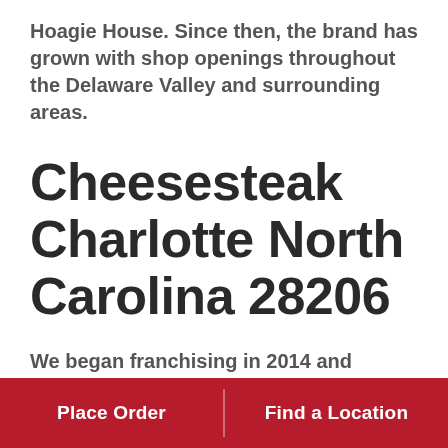Hoagie House. Since then, the brand has grown with shop openings throughout the Delaware Valley and surrounding areas.
Cheesesteak Charlotte North Carolina 28206
We began franchising in 2014 and opened up our first franchise in November 2015 at Temple University. As we continue our journey, we want to share with the rest of the country what every
Place Order   Find a Location